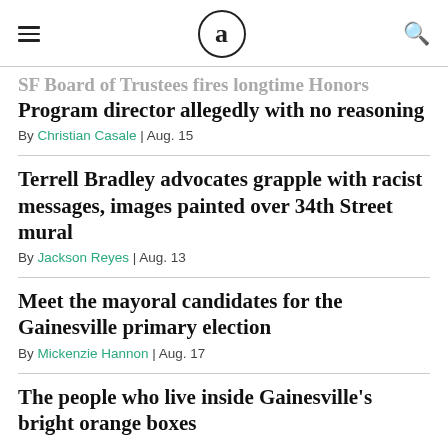a (logo)
SF Board of Trustees fires longtime Honors Program director allegedly with no reasoning
By Christian Casale | Aug. 15
Terrell Bradley advocates grapple with racist messages, images painted over 34th Street mural
By Jackson Reyes | Aug. 13
Meet the mayoral candidates for the Gainesville primary election
By Mickenzie Hannon | Aug. 17
The people who live inside Gainesville's bright orange boxes